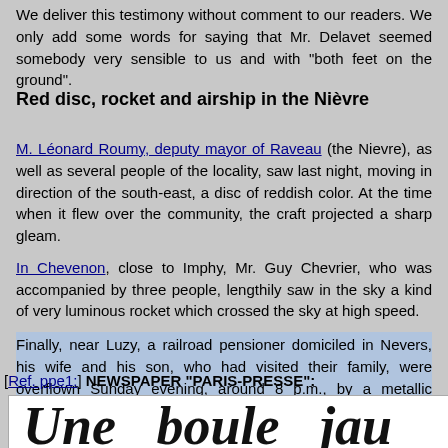We deliver this testimony without comment to our readers. We only add some words for saying that Mr. Delavet seemed somebody very sensible to us and with "both feet on the ground".
Red disc, rocket and airship in the Nièvre
M. Léonard Roumy, deputy mayor of Raveau (the Nievre), as well as several people of the locality, saw last night, moving in direction of the south-east, a disc of reddish color. At the time when it flew over the community, the craft projected a sharp gleam.
In Chevenon, close to Imphy, Mr. Guy Chevrier, who was accompanied by three people, lengthily saw in the sky a kind of very luminous rocket which crossed the sky at high speed.
Finally, near Luzy, a railroad pensioner domiciled in Nevers, his wife and his son, who had visited their family, were overflown Sunday evening, around 8 p.m., by a metallic airship flying at a very low altitude, which projectors light lit the ground as in full day. The craft moved at a tremendous speed.
[Ref. ppe1:] NEWSPAPER "PARIS-PRESSE":
[Figure (photo): Newspaper clipping showing the headline 'Une boule jau' (partial, cropped) in large bold italic serif type on white background]